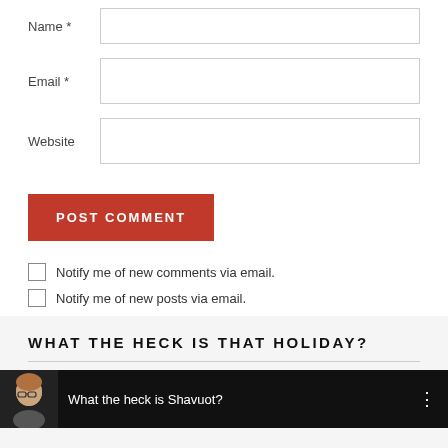Name *
Email *
Website
POST COMMENT
Notify me of new comments via email.
Notify me of new posts via email.
WHAT THE HECK IS THAT HOLIDAY?
[Figure (screenshot): Video thumbnail showing a woman with glasses, text reading 'What the heck is Shavuot?' on dark background]